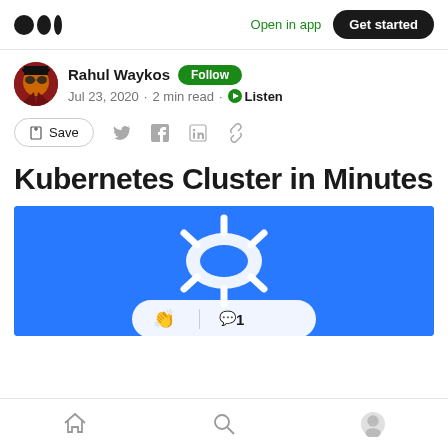Medium — Open in app · Get started
Rahul Waykos · Follow · Jul 23, 2020 · 2 min read · Listen
Save (share icons: Twitter, Facebook, LinkedIn, Link)
Kubernetes Cluster in Minutes
[Figure (illustration): Blue background illustration with a white Kubernetes-related graphic and a reaction bar showing clap and comment (1) icons]
Bottom navigation: Home, Search, Profile